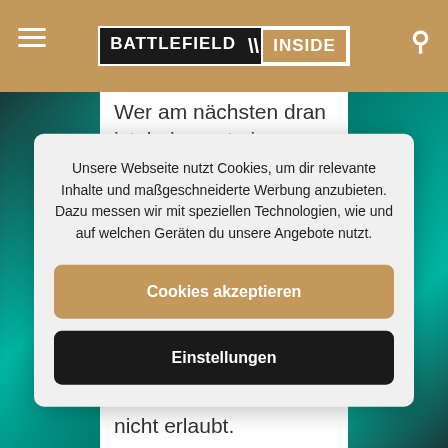BATTLEFIELD INSIDE
Wer am nächsten dran ist, bekommt ein Battlefield V Gamescom Dogtag.  Das Dogtag beinhaltet ein exklusives Battlefield V Gamescom Dogtag
Unsere Webseite nutzt Cookies, um dir relevante Inhalte und maßgeschneiderte Werbung anzubieten. Dazu messen wir mit speziellen Technologien, wie und auf welchen Geräten du unsere Angebote nutzt.
Cookies akzeptieren
Einstellungen
nicht erlaubt.